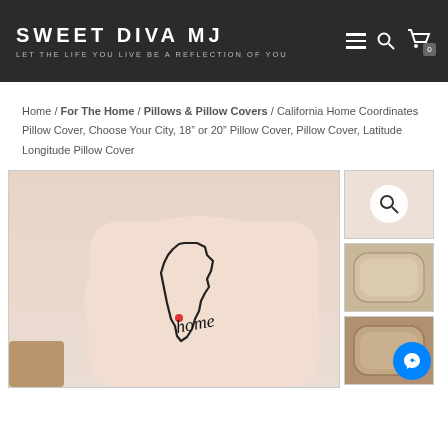SWEET DIVA MJ — LET THE LIFE YOU LIVE BE A REFLECTION OF YOU
Home / For The Home / Pillows & Pillow Covers / California Home Coordinates Pillow Cover, Choose Your City, 18" or 20" Pillow Cover, Pillow Cover, Latitude Longitude Pillow Cover
[Figure (photo): A peach/cream colored pillow with a printed outline of the state of California and cursive script reading 'home' with a small red heart dot marker, photographed against a white beaded board wall.]
[Figure (photo): Thumbnail: magnify/zoom icon overlay on pillow photo]
[Figure (photo): Thumbnail: beige/neutral pillow cover]
[Figure (photo): Thumbnail: tan/darker pillow cover]